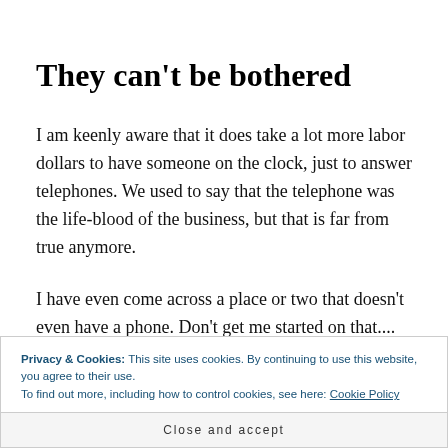They can’t be bothered
I am keenly aware that it does take a lot more labor dollars to have someone on the clock, just to answer telephones. We used to say that the telephone was the life-blood of the business, but that is far from true anymore.
I have even come across a place or two that doesn’t even have a phone. Don’t get me started on that....
Privacy & Cookies: This site uses cookies. By continuing to use this website, you agree to their use.
To find out more, including how to control cookies, see here: Cookie Policy
Close and accept